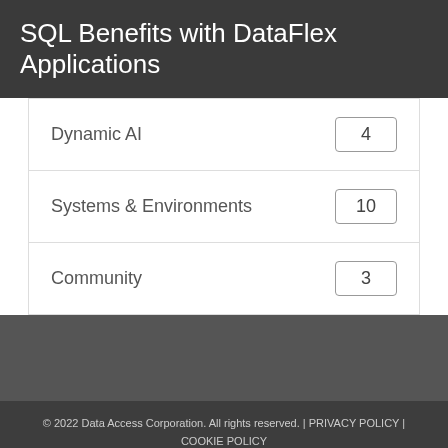SQL Benefits with DataFlex Applications
| Category | Count |
| --- | --- |
| Dynamic AI | 4 |
| Systems & Environments | 10 |
| Community | 3 |
© 2022 Data Access Corporation. All rights reserved. | PRIVACY POLICY | COOKIE POLICY
This website uses cookies to ensure you get the best experience on our website. More info...